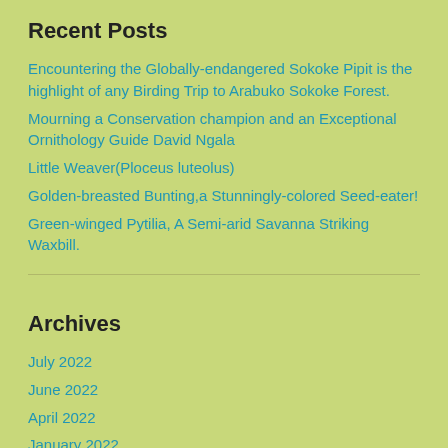Recent Posts
Encountering the Globally-endangered Sokoke Pipit is the highlight of any Birding Trip to Arabuko Sokoke Forest.
Mourning a Conservation champion and an Exceptional Ornithology Guide David Ngala
Little Weaver(Ploceus luteolus)
Golden-breasted Bunting,a Stunningly-colored Seed-eater!
Green-winged Pytilia, A Semi-arid Savanna Striking Waxbill.
Archives
July 2022
June 2022
April 2022
January 2022
November 2021
September 2021
June 2021